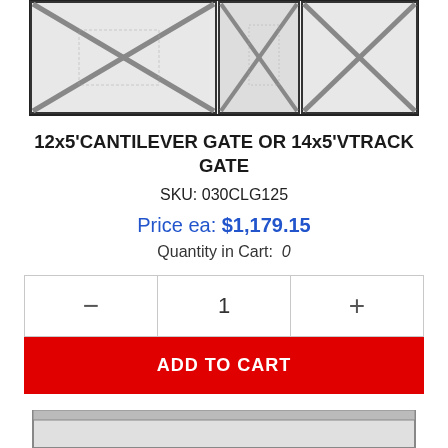[Figure (photo): Product image of a cantilever gate or vtrack gate showing chain-link fence panels with diagonal cross bracing in a metal frame]
12x5'CANTILEVER GATE OR 14x5'VTRACK GATE
SKU: 030CLG125
Price ea: $1,179.15
Quantity in Cart: 0
— 1 +
ADD TO CART
[Figure (photo): Partial product image at bottom of page showing another gate product]